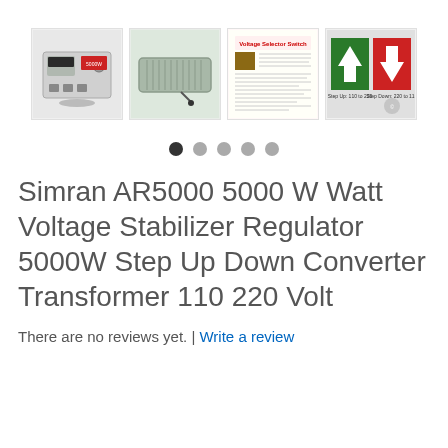[Figure (photo): Four product thumbnail images of the Simran AR5000 voltage stabilizer: (1) front view of device with outlets, (2) top/side view of device, (3) voltage selector switch informational graphic with red text, (4) step up/step down arrows graphic in green and red on black background. Below images are five navigation dots, first dot filled black and four in gray.]
Simran AR5000 5000 W Watt Voltage Stabilizer Regulator 5000W Step Up Down Converter Transformer 110 220 Volt
There are no reviews yet. | Write a review